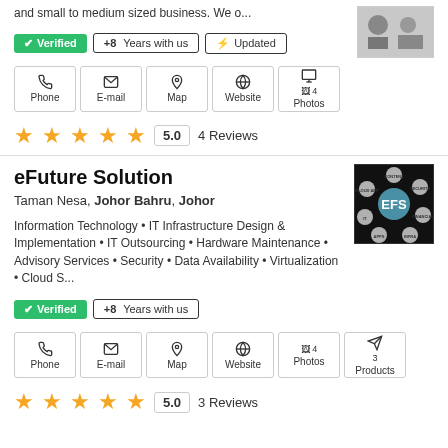and small to medium sized business. We o...
✔ Verified  +8 Years with us  ⚡ Updated
Phone  E-mail  Map  Website  4 Photos
5.0  4 Reviews
eFuture Solution
Taman Nesa, Johor Bahru, Johor
Information Technology • IT Infrastructure Design & Implementation • IT Outsourcing • Hardware Maintenance • Advisory Services • Security • Data Availability • Virtualization • Cloud S...
✔ Verified  +8 Years with us
Phone  E-mail  Map  Website  4 Photos  3 Products
5.0  3 Reviews